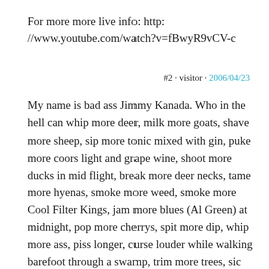For more more live info: http: //www.youtube.com/watch?v=fBwyR9vCV-c
#2 · visitor · 2006/04/23
My name is bad ass Jimmy Kanada. Who in the hell can whip more deer, milk more goats, shave more sheep, sip more tonic mixed with gin, puke more coors light and grape wine, shoot more ducks in mid flight, break more deer necks, tame more hyenas, smoke more weed, smoke more Cool Filter Kings, jam more blues (Al Green) at midnight, pop more cherrys, spit more dip, whip more ass, piss longer, curse louder while walking barefoot through a swamp, trim more trees, sic more blood hounds on a pig, drink more yak, out fuss any slut into licking toes and stripping, gut more sword fish, bust more watermelon, grease more shot gun barrels, neuter more doberman pinschers, crack more mountain ice while shooting shot gun rounds at mountain